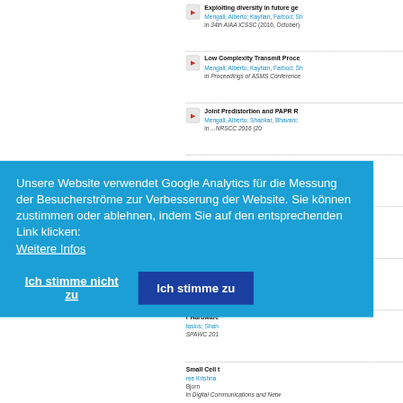Exploiting diversity in future ge... Mengali, Alberto; Kayhan, Farbod; Sh... in 34th AIAA ICSSC (2016, October)
Low Complexity Transmit Proce... Mengali, Alberto; Kayhan, Farbod; Sh... in Proceedings of ASMS Conference...
Joint Predistortion and PAPR R... Mengali, Alberto; Shankar, Bhavani;... in ...NRSCC 2016 (20...
...ximization... an, M.; Stoic... Wireless Co...
...massive M... an, M.; Stoic... d Signal Pro...
...rmance of... tasios; Shan... CC 2016 (20...
...r Hardware... tasios; Shan... SPAWC 201...
Small Cell t... ree Krishna... Bjorn... in Digital Communications and Netw...
Unsere Website verwendet Google Analytics für die Messung der Besucherströme zur Verbesserung der Website. Sie können zustimmen oder ablehnen, indem Sie auf den entsprechenden Link klicken:
Weitere Infos
Ich stimme nicht zu
Ich stimme zu